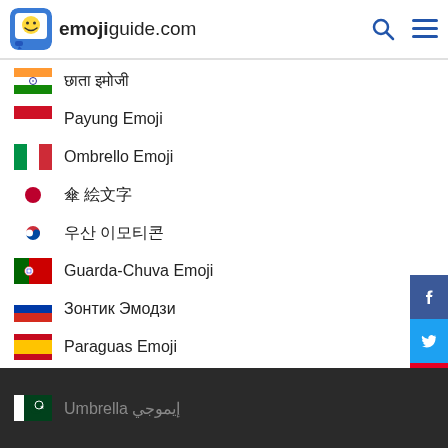emojiguide.com
🇮🇳 छाता इमोजी
🇮🇩 Payung Emoji
🇮🇹 Ombrello Emoji
🇯🇵 傘 絵文字
🇰🇷 우산 이모티콘
🇵🇹 Guarda-Chuva Emoji
🇷🇺 Зонтик Эмодзи
🇪🇸 Paraguas Emoji
🇹🇱 Payong Emoji
🇵🇰 Umbrella إيموجي